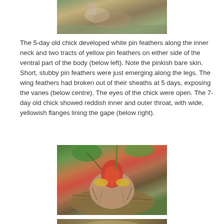[Figure (photo): Top portion of a young chick showing feathers and skin, partially cropped at top of page]
The 5-day old chick developed white pin feathers along the inner neck and two tracts of yellow pin feathers on either side of the ventral part of the body (below left). Note the pinkish bare skin. Short, stubby pin feathers were just emerging along the legs. The wing feathers had broken out of their sheaths at 5 days, exposing the vanes (below centre). The eyes of the chick were open. The 7-day old chick showed reddish inner and outer throat, with wide, yellowish flanges lining the gape (below right).
[Figure (photo): A young chick in a nest with beak open wide showing reddish inner and outer throat and yellowish flanges lining the gape, surrounded by green leaves]
[Figure (photo): Bottom portion of another chick photo, partially visible at bottom of page]